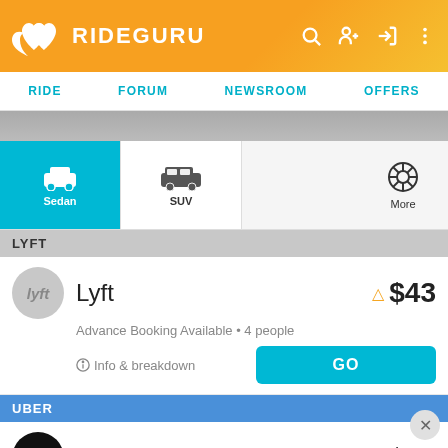RIDEGURU
RIDE  FORUM  NEWSROOM  OFFERS
[Figure (screenshot): Vehicle type selector with Sedan (active, teal background), SUV, and More (gear icon) tabs]
LYFT
Lyft  ⚠ $43
Advance Booking Available • 4 people
ⓘ Info & breakdown  [GO]
UBER
Uber X  ⚠ $49
Advance Booking Available • 4 people
ⓘ Info & breakdown  [GO]